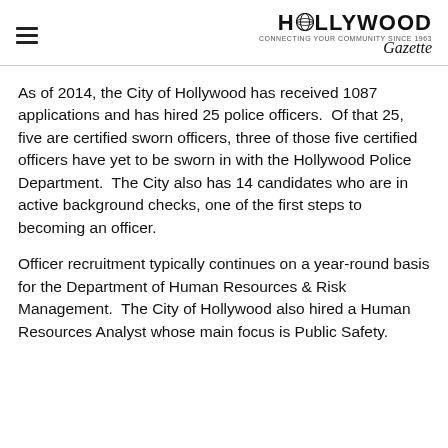HOLLYWOOD Gazette
As of 2014, the City of Hollywood has received 1087 applications and has hired 25 police officers.  Of that 25, five are certified sworn officers, three of those five certified officers have yet to be sworn in with the Hollywood Police Department.  The City also has 14 candidates who are in active background checks, one of the first steps to becoming an officer.
Officer recruitment typically continues on a year-round basis for the Department of Human Resources & Risk Management.  The City of Hollywood also hired a Human Resources Analyst whose main focus is Public Safety.